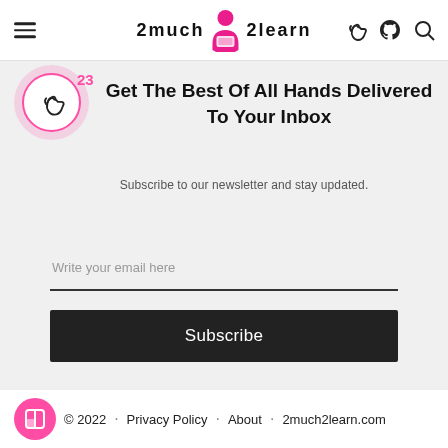2much2learn — navigation header with hamburger menu, logo, and icons
Get The Best Of All Hands Delivered To Your Inbox
Subscribe to our newsletter and stay updated.
Write your email here
Subscribe
© 2022 · Privacy Policy · About · 2much2learn.com